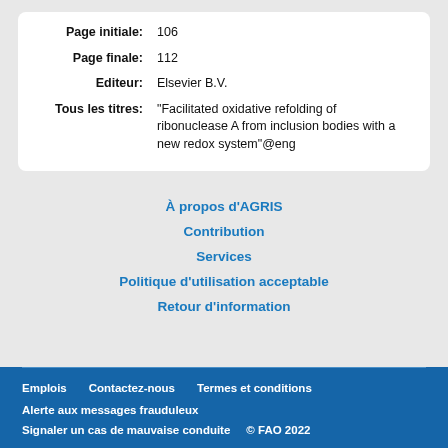| Page initiale: | 106 |
| Page finale: | 112 |
| Editeur: | Elsevier B.V. |
| Tous les titres: | "Facilitated oxidative refolding of ribonuclease A from inclusion bodies with a new redox system"@eng |
À propos d'AGRIS
Contribution
Services
Politique d'utilisation acceptable
Retour d'information
Emplois  Contactez-nous  Termes et conditions  Alerte aux messages frauduleux  Signaler un cas de mauvaise conduite  © FAO 2022